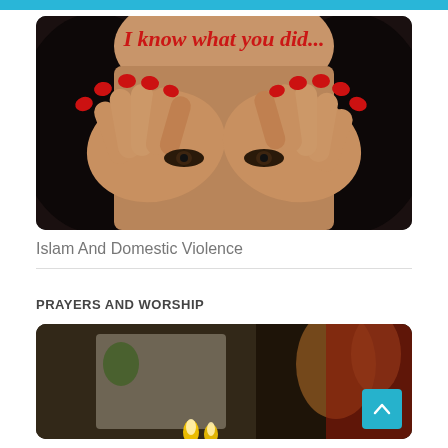[Figure (photo): A woman covering her face with both hands, red nail polish, dark hair, with text overlay 'I know what you did...' in red serif font, dark background.]
Islam And Domestic Violence
PRAYERS AND WORSHIP
[Figure (photo): A dimly lit religious scene with candles and decorative elements, partially visible.]